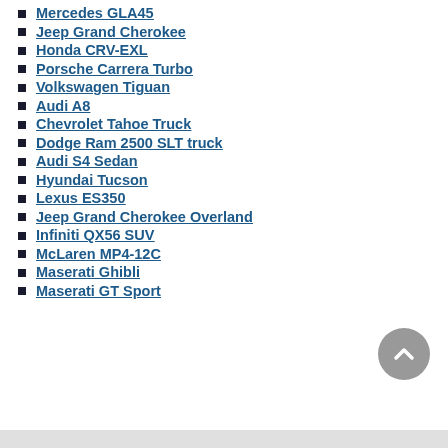Mercedes GLA45
Jeep Grand Cherokee
Honda CRV-EXL
Porsche Carrera Turbo
Volkswagen Tiguan
Audi A8
Chevrolet Tahoe Truck
Dodge Ram 2500 SLT truck
Audi S4 Sedan
Hyundai Tucson
Lexus ES350
Jeep Grand Cherokee Overland
Infiniti QX56 SUV
McLaren MP4-12C
Maserati Ghibli
Maserati GT Sport